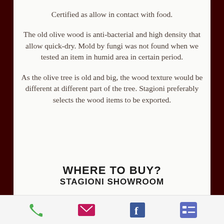Certified as allow in contact with food.
The old olive wood is anti-bacterial and high density that allow quick-dry. Mold by fungi was not found when we tested an item in humid area in certain period.
As the olive tree is old and big, the wood texture would be different at different part of the tree. Stagioni preferably selects the wood items to be exported.
WHERE TO BUY?
STAGIONI SHOWROOM